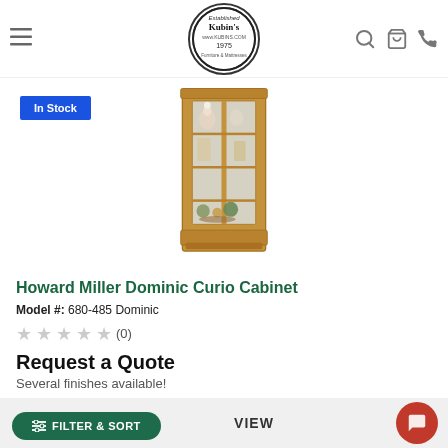Kubin's — www.kubins.com — Established 1975 — Furniture & Mattresses
[Figure (photo): Howard Miller Dominic Curio Cabinet product photo — tall wooden display cabinet with glass front showing decorative items inside including flowers and spherical objects]
In Stock
Howard Miller Dominic Curio Cabinet
Model #: 680-485 Dominic
★★★★★ (0)
Request a Quote
Several finishes available!
FILTER & SORT
VIEW